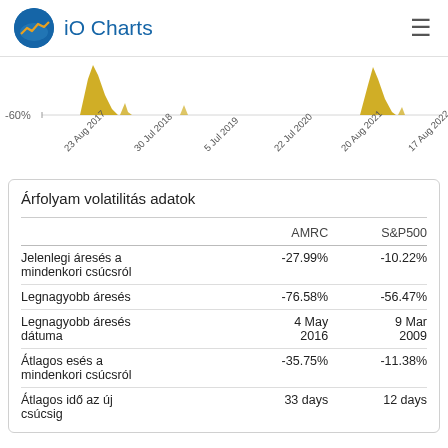iO Charts
[Figure (continuous-plot): Partial area/line chart showing drawdown data from 23 Aug 2017 to 17 Aug 2022, with gold-colored spikes above baseline and -60% level marked on y-axis. X-axis labels: 23 Aug 2017, 30 Jul 2018, 5 Jul 2019, 22 Jul 2020, 20 Aug 2021, 17 Aug 2022.]
Árfolyam volatilitás adatok
|  | AMRC | S&P500 |
| --- | --- | --- |
| Jelenlegi áresés a mindenkori csúcsról | -27.99% | -10.22% |
| Legnagyobb áresés | -76.58% | -56.47% |
| Legnagyobb áresés dátuma | 4 May 2016 | 9 Mar 2009 |
| Átlagos esés a mindenkori csúcsról | -35.75% | -11.38% |
| Átlagos idő az új csúcsig | 33 days | 12 days |